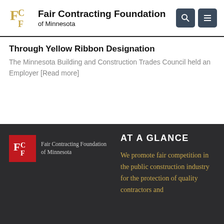Fair Contracting Foundation of Minnesota
Through Yellow Ribbon Designation
The Minnesota Building and Construction Trades Council held an Employer [Read more]
[Figure (logo): Fair Contracting Foundation of Minnesota footer logo on red background]
AT A GLANCE
We promote fair competition in the public construction industry for the protection of quality contractors and